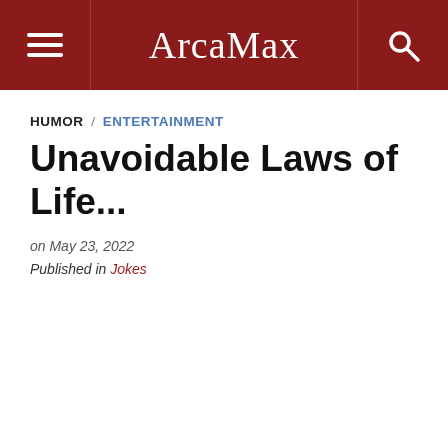ArcaMax
HUMOR / ENTERTAINMENT
Unavoidable Laws of Life...
on May 23, 2022
Published in Jokes